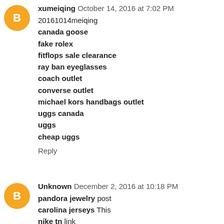xumeiqing October 14, 2016 at 7:02 PM
20161014meiqing
canada goose
fake rolex
fitflops sale clearance
ray ban eyeglasses
coach outlet
converse outlet
michael kors handbags outlet
uggs canada
uggs
cheap uggs
Reply
Unknown December 2, 2016 at 10:18 PM
pandora jewelry post
carolina jerseys This
nike tn link
nike store uk we
atlanta falcons jersey why